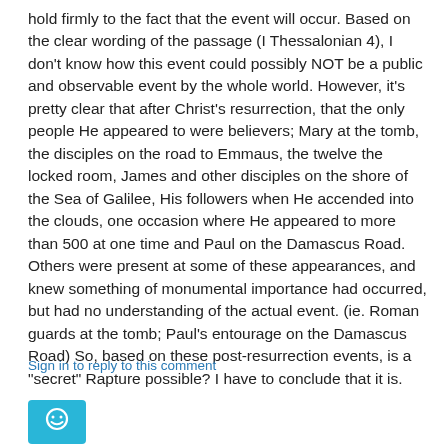hold firmly to the fact that the event will occur. Based on the clear wording of the passage (I Thessalonian 4), I don't know how this event could possibly NOT be a public and observable event by the whole world. However, it's pretty clear that after Christ's resurrection, that the only people He appeared to were believers; Mary at the tomb, the disciples on the road to Emmaus, the twelve the locked room, James and other disciples on the shore of the Sea of Galilee, His followers when He accended into the clouds, one occasion where He appeared to more than 500 at one time and Paul on the Damascus Road. Others were present at some of these appearances, and knew something of monumental importance had occurred, but had no understanding of the actual event. (ie. Roman guards at the tomb; Paul's entourage on the Damascus Road) So, based on these post-resurrection events, is a "secret" Rapture possible? I have to conclude that it is.
Sign in to reply to this comment
[Figure (illustration): Blue square avatar icon with a smiley face outline in white]